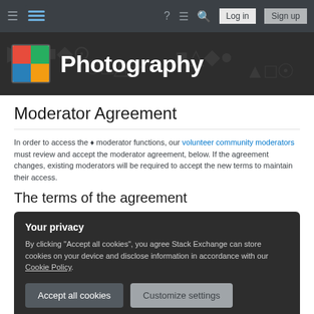[Figure (screenshot): Stack Exchange navigation bar with hamburger menu, Stack Exchange logo, help icon, chat icon, search icon, Log in and Sign up buttons on dark background]
[Figure (screenshot): Photography Stack Exchange site banner with colorful icon and white Photography text on dark background with faint icon patterns]
Moderator Agreement
In order to access the ♦ moderator functions, our volunteer community moderators must review and accept the moderator agreement, below. If the agreement changes, existing moderators will be required to accept the new terms to maintain their access.
The terms of the agreement
Your privacy
By clicking "Accept all cookies", you agree Stack Exchange can store cookies on your device and disclose information in accordance with our Cookie Policy.
Accept all cookies    Customize settings
iii. I will abide by the Privacy Policy.